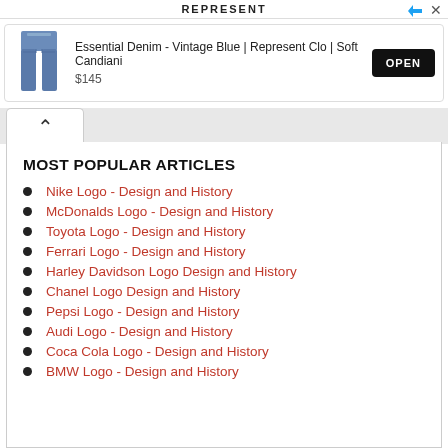REPRESENT
[Figure (screenshot): Advertisement banner for Essential Denim - Vintage Blue | Represent Clo | Soft Candiani, priced at $145, with an OPEN button]
MOST POPULAR ARTICLES
Nike Logo - Design and History
McDonalds Logo - Design and History
Toyota Logo - Design and History
Ferrari Logo - Design and History
Harley Davidson Logo Design and History
Chanel Logo Design and History
Pepsi Logo - Design and History
Audi Logo - Design and History
Coca Cola Logo - Design and History
BMW Logo - Design and History